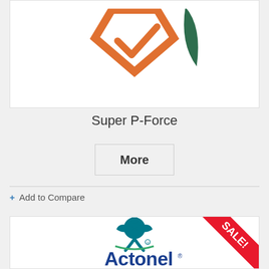[Figure (logo): Super P-Force product logo - partial view at top of page showing orange and green shield/checkmark logo]
Super P-Force
More
+ Add to Compare
[Figure (logo): Actonel pharmaceutical product logo in teal/blue with figure icon above text, with SALE! red corner ribbon]